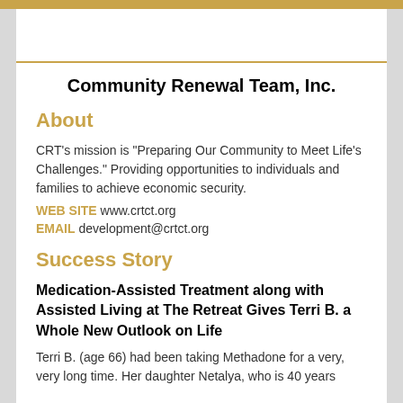Community Renewal Team, Inc.
About
CRT's mission is "Preparing Our Community to Meet Life's Challenges." Providing opportunities to individuals and families to achieve economic security.
WEB SITE www.crtct.org
EMAIL development@crtct.org
Success Story
Medication-Assisted Treatment along with Assisted Living at The Retreat Gives Terri B. a Whole New Outlook on Life
Terri B. (age 66) had been taking Methadone for a very, very long time. Her daughter Netalya, who is 40 years